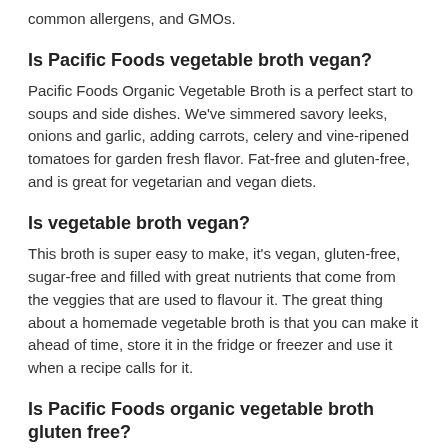common allergens, and GMOs.
Is Pacific Foods vegetable broth vegan?
Pacific Foods Organic Vegetable Broth is a perfect start to soups and side dishes. We've simmered savory leeks, onions and garlic, adding carrots, celery and vine-ripened tomatoes for garden fresh flavor. Fat-free and gluten-free, and is great for vegetarian and vegan diets.
Is vegetable broth vegan?
This broth is super easy to make, it's vegan, gluten-free, sugar-free and filled with great nutrients that come from the veggies that are used to flavour it. The great thing about a homemade vegetable broth is that you can make it ahead of time, store it in the fridge or freezer and use it when a recipe calls for it.
Is Pacific Foods organic vegetable broth gluten free?